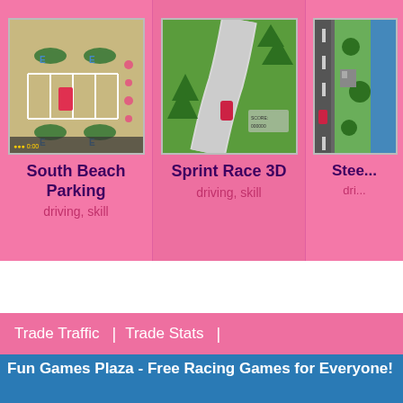[Figure (screenshot): South Beach Parking game thumbnail - top-down view of parking lot with cars]
South Beach Parking
driving, skill
[Figure (screenshot): Sprint Race 3D game thumbnail - bird's eye view of road with red car]
Sprint Race 3D
driving, skill
[Figure (screenshot): Stee... game thumbnail - top-down racing game view]
Stee...
dri...
Trade Traffic  |  Trade Stats  |
Fun Games Plaza - Free Racing Games for Everyone!
We have some loads of fun games on at fun games plaza. Select from the up games, funny games, and of course fun games!
To start playing the best fun racing games all you have to do is select fro...